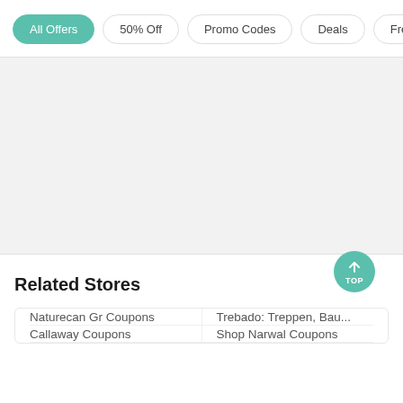All Offers
50% Off
Promo Codes
Deals
Free Shipping
[Figure (other): Gray placeholder area]
Related Stores
Naturecan Gr Coupons
Trebado: Treppen, Bau...
Callaway Coupons
Shop Narwal Coupons